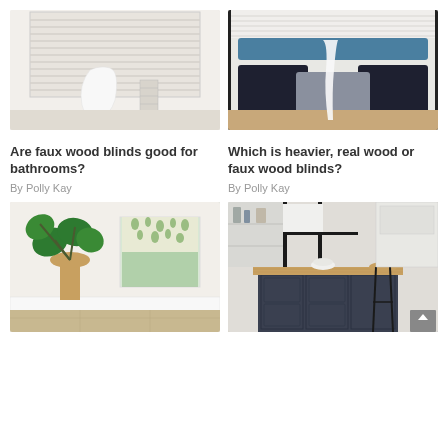[Figure (photo): Bathroom with white faux wood blinds on window and white towel on rack]
Are faux wood blinds good for bathrooms?
By Polly Kay
[Figure (photo): Bedroom window seat with blue and dark cushions, white blind above]
Which is heavier, real wood or faux wood blinds?
By Polly Kay
[Figure (photo): Bright white room with floral Roman blind, large fiddle leaf fig plant in basket]
[Figure (photo): Modern kitchen with dark cabinetry, wood countertop island, black window frame]